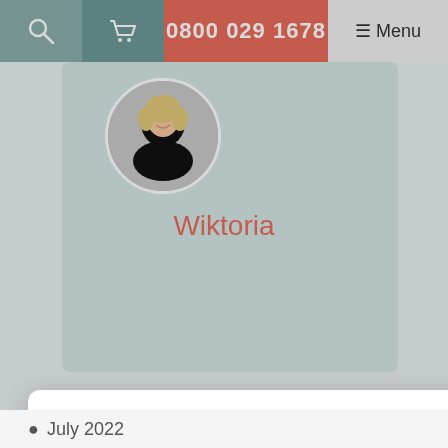0800 029 1678  ☰ Menu
[Figure (screenshot): Website background showing a profile card for 'Wiktoria' with a circular photo, coral/teal color scheme, and partial navigation elements]
This website uses cookies
This website uses cookies to improve user experience and for personalised advertising. By using our website you consent to all cookies in accordance with our Cookie Policy. Read more
ACCEPT ALL
DECLINE ALL
⚙ SHOW DETAILS
POWERED BY COOKIESCRIPT
• July 2022